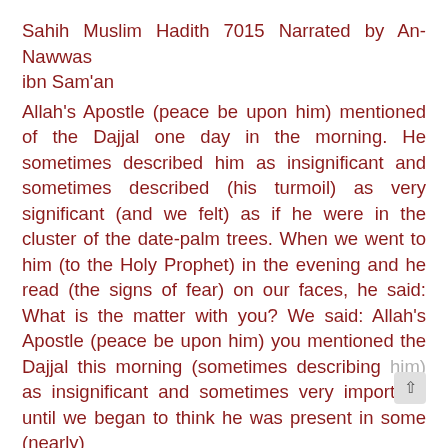Sahih Muslim Hadith 7015 Narrated by An-Nawwas ibn Sam'an
Allah's Apostle (peace be upon him) mentioned of the Dajjal one day in the morning. He sometimes described him as insignificant and sometimes described (his turmoil) as very significant (and we felt) as if he were in the cluster of the date-palm trees. When we went to him (to the Holy Prophet) in the evening and he read (the signs of fear) on our faces, he said: What is the matter with you? We said: Allah's Apostle (peace be upon him) you mentioned the Dajjal this morning (sometimes describing him) as insignificant and sometimes very important, until we began to think he was present in some (nearly)